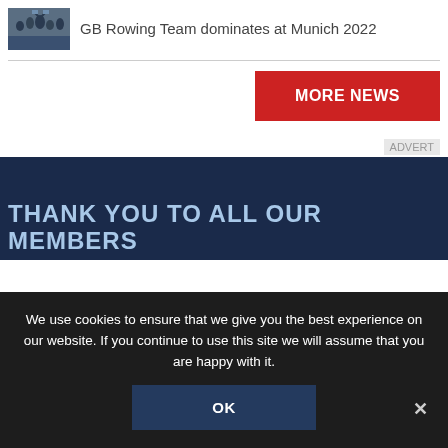[Figure (photo): Thumbnail photo of GB Rowing Team members celebrating]
GB Rowing Team dominates at Munich 2022
[Figure (other): MORE NEWS red button]
ADVERT
[Figure (other): Dark blue banner with text THANK YOU TO ALL OUR MEMBERS]
We use cookies to ensure that we give you the best experience on our website. If you continue to use this site we will assume that you are happy with it.
[Figure (other): OK button]